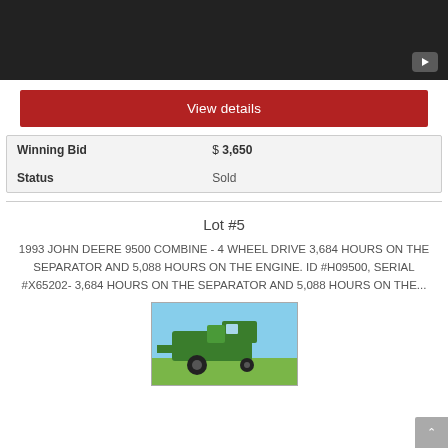[Figure (other): Black video thumbnail with YouTube play button in bottom-right corner]
View details
| Winning Bid | $ 3,650 |
| Status | Sold |
Lot #5
1993 JOHN DEERE 9500 COMBINE - 4 WHEEL DRIVE 3,684 HOURS ON THE SEPARATOR AND 5,088 HOURS ON THE ENGINE. ID #H09500, SERIAL #X65202- 3,684 HOURS ON THE SEPARATOR AND 5,088 HOURS ON THE...
[Figure (photo): Photo of a green John Deere combine harvester against a blue sky background]